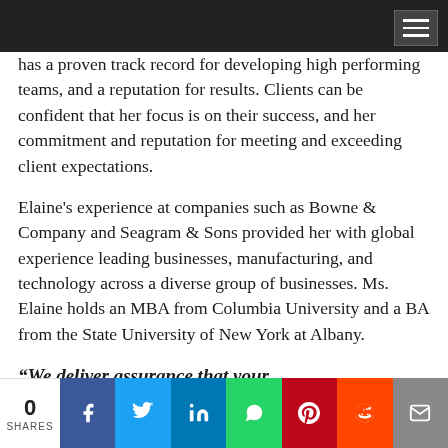has a proven track record for developing high performing teams, and a reputation for results. Clients can be confident that her focus is on their success, and her commitment and reputation for meeting and exceeding client expectations.
Elaine's experience at companies such as Bowne & Company and Seagram & Sons provided her with global experience leading businesses, manufacturing, and technology across a diverse group of businesses. Ms. Elaine holds an MBA from Columbia University and a BA from the State University of New York at Albany.
“We deliver assurance that your
0 SHARES